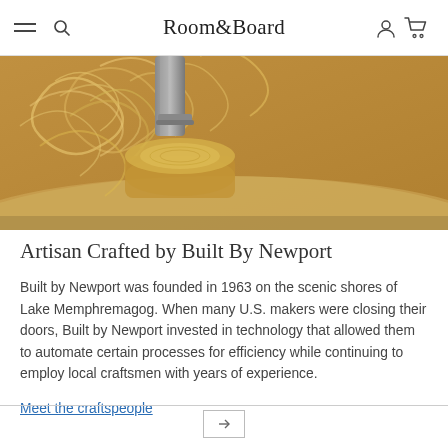Room&Board navigation bar with hamburger menu, search, logo, account, and cart icons
[Figure (photo): Close-up photo of wood being turned/drilled on a lathe, showing wood shavings and a metal drill bit against warm golden-brown tones]
Artisan Crafted by Built By Newport
Built by Newport was founded in 1963 on the scenic shores of Lake Memphremagog. When many U.S. makers were closing their doors, Built by Newport invested in technology that allowed them to automate certain processes for efficiency while continuing to employ local craftsmen with years of experience.
Meet the craftspeople